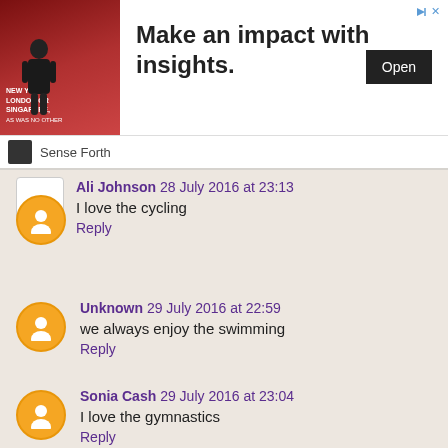[Figure (infographic): Advertisement banner: image of a man in suit on left with text 'NEW YORK, LONDON OR SINGAPORE,', bold headline 'Make an impact with insights.', black 'Open' button on right, 'Sense Forth' brand below]
Ali Johnson 28 July 2016 at 23:13
I love the cycling
Reply
Unknown 29 July 2016 at 22:59
we always enjoy the swimming
Reply
Sonia Cash 29 July 2016 at 23:04
I love the gymnastics
Reply